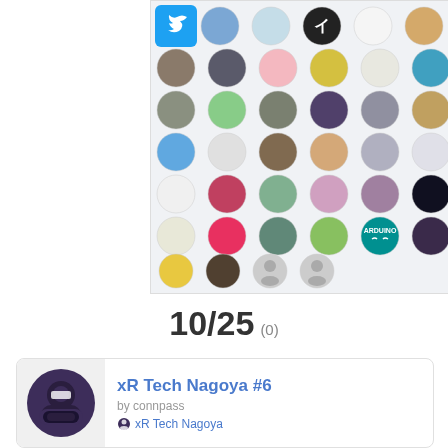[Figure (other): Grid of circular avatar/profile images (approximately 6 columns × 7 rows), including a Twitter bird icon in the top-left cell, various anime and real-person avatars, placeholder grey silhouette circles, and an Arduino logo circle.]
10/25 (0)
[Figure (other): Event card for 'xR Tech Nagoya #6' with a dark VR headset logo on the left, title 'xR Tech Nagoya #6', subtitle 'by connpass', and group label 'xR Tech Nagoya' with a small icon.]